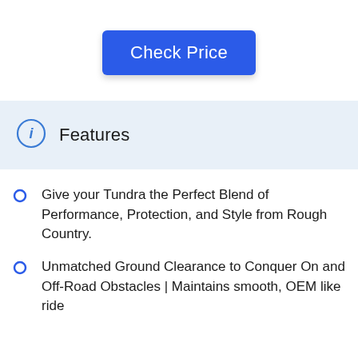[Figure (other): Blue 'Check Price' button with rounded corners and drop shadow]
Features
Give your Tundra the Perfect Blend of Performance, Protection, and Style from Rough Country.
Unmatched Ground Clearance to Conquer On and Off-Road Obstacles | Maintains smooth, OEM like ride